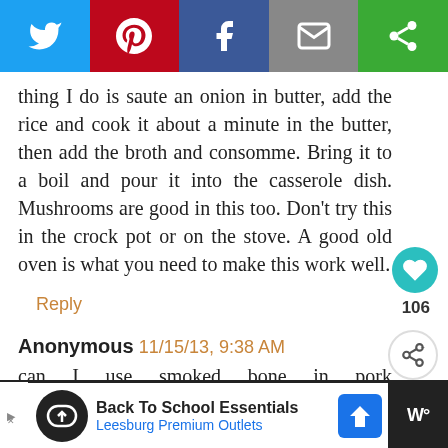[Figure (screenshot): Social media share bar with Twitter, Pinterest, Facebook, email, and another sharing icon buttons]
thing I do is saute an onion in butter, add the rice and cook it about a minute in the butter, then add the broth and consomme. Bring it to a boil and pour it into the casserole dish. Mushrooms are good in this too. Don't try this in the crock pot or on the stove. A good old oven is what you need to make this work well.
Reply
Anonymous 11/15/13, 9:38 AM
can I use smoked bone in pork chop... know a good pork chop receipe... potatoes and cheese?
[Figure (infographic): What's Next panel showing Chicken & Rice... with a food photo]
Back To School Essentials Leesburg Premium Outlets